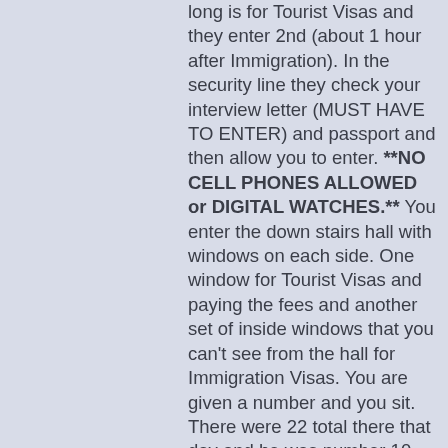long is for Tourist Visas and they enter 2nd (about 1 hour after Immigration). In the security line they check your interview letter (MUST HAVE TO ENTER) and passport and then allow you to enter. **NO CELL PHONES ALLOWED or DIGITAL WATCHES.** You enter the down stairs hall with windows on each side. One window for Tourist Visas and paying the fees and another set of inside windows that you can't see from the hall for Immigration Visas. You are given a number and you sit. There were 22 total there that day and he was number 10. They call his number to pay his fee. They take his birth certificate and military papers in Arabic (only-did not require English translations) and took his fingerprints(all fingers / both hands). This lady asked him some questions and he asked if she was the consular and she said no. After this she had him pay the visa fee of $240.00 and the DHL fee of 70 pounds. (You CAN pay all fees in Egyptian pounds or US dollars.) Then he got another number and he was free to walk around the embassy until